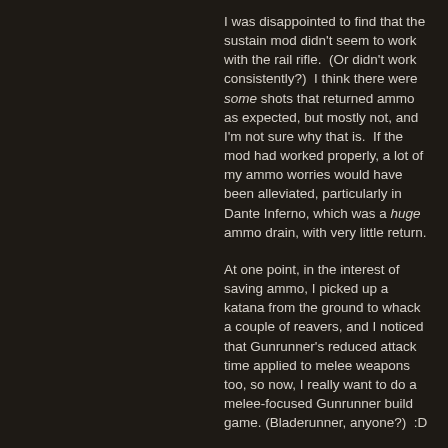I was disappointed to find that the sustain mod didn't seem to work with the rail rifle.  (Or didn't work consistently?)  I think there were some shots that returned ammo as expected, but mostly not, and I'm not sure why that is.  If the mod had worked properly, a lot of my ammo worries would have been alleviated, particularly in Dante Inferno, which was a huge ammo drain, with very little return.
At one point, in the interest of saving ammo, I picked up a katana from the ground to whack a couple of reavers, and I noticed that Gunrunner's reduced attack time applied to melee weapons too, so now, I really want to do a melee-focused Gunrunner build game. (Bladerunner, anyone?)  :D
Tormuse, level 18 Scout, defeated the Harbinger against